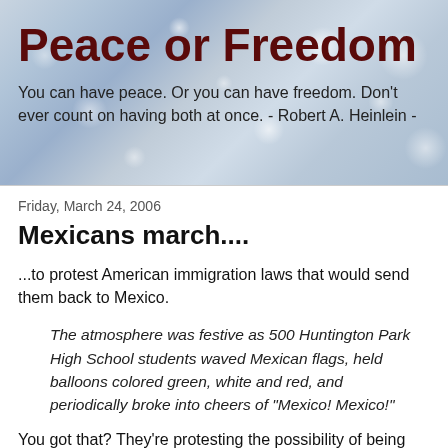Peace or Freedom
You can have peace. Or you can have freedom. Don't ever count on having both at once. - Robert A. Heinlein -
Friday, March 24, 2006
Mexicans march....
...to protest American immigration laws that would send them back to Mexico.
The atmosphere was festive as 500 Huntington Park High School students waved Mexican flags, held balloons colored green, white and red, and periodically broke into cheers of "Mexico! Mexico!"
You got that? They're protesting the possibility of being sent